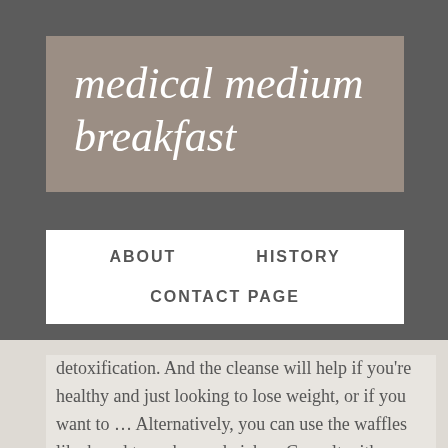medical medium breakfast
ABOUT
HISTORY
CONTACT PAGE
detoxification. And the cleanse will help if you're healthy and just looking to lose weight, or if you want to … Alternatively, you can use the waffles like bread to make sandwiches. Consult with a licensed healthcare